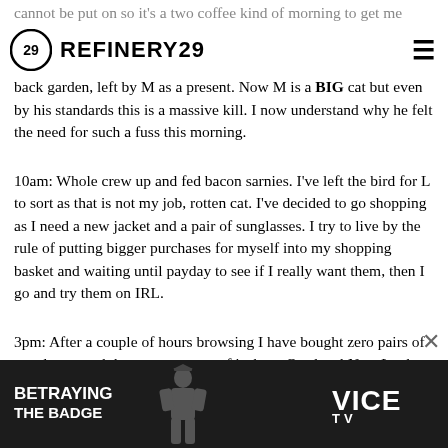cannot be put on so it's a two coffee kind of morning to get me
REFINERY29
back garden, left by M as a present. Now M is a BIG cat but even by his standards this is a massive kill. I now understand why he felt the need for such a fuss this morning.
10am: Whole crew up and fed bacon sarnies. I've left the bird for L to sort as that is not my job, rotten cat. I've decided to go shopping as I need a new jacket and a pair of sunglasses. I try to live by the rule of putting bigger purchases for myself into my shopping basket and waiting until payday to see if I really want them, then I go and try them on IRL.
3pm: After a couple of hours browsing I have bought zero pairs of sunglasses and the same amount of jackets. Our local New Look s[tore had ...] and a bralette[...]
[Figure (other): Advertisement banner for 'Betraying the Badge' on VICE TV, dark background with a figure silhouette and VICE TV logo]